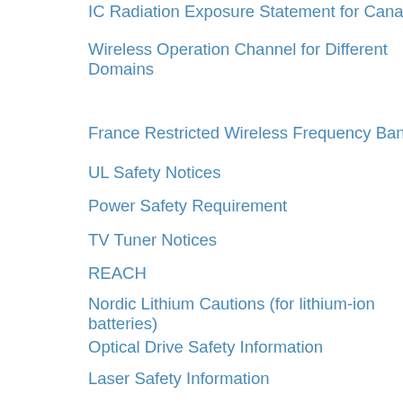IC Radiation Exposure Statement for Canada
Wireless Operation Channel for Different Domains
France Restricted Wireless Frequency Bands
UL Safety Notices
Power Safety Requirement
TV Tuner Notices
REACH
Nordic Lithium Cautions (for lithium-ion batteries)
Optical Drive Safety Information
Laser Safety Information
Service warning label
CDRH Regulations
Macrovision Corporation Product Notice
Coating Notice
Prevention of Hearing Loss
Regional notice for Singapore